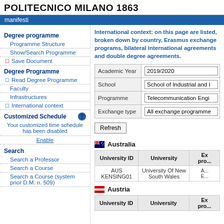POLITECNICO MILANO 1863
manifesti
Degree programme
Programme Structure
Show/Search Programme
Save Document
Degree Programme
Read Degree Programme
Faculty
Infrastructures
International context
Customized Schedule
Your customized time schedule has been disabled
Enable
Search
Search a Professor
Search a Course
Search a Course (system prior D.M. n. 509)
International context: on this page are listed, broken down by country, Erasmus exchange programs, bilateral international agreements and double degree agreements.
| Field | Value |
| --- | --- |
| Academic Year | 2019/2020 |
| School | School of Industrial and I... |
| Programme | Telecommunication Engi... |
| Exchange type | All exchange programme... |
Refresh
Australia
| University ID | University | Ex pro... |
| --- | --- | --- |
| AUS KENSING01 | University Of New South Wales | A... E... |
Austria
| University ID | University | Ex pro... |
| --- | --- | --- |